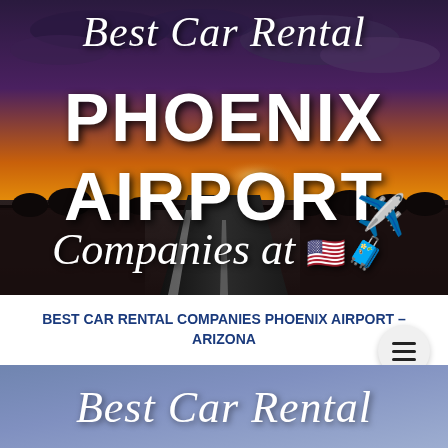[Figure (photo): Hero banner image showing a desert highway at sunset with dramatic cloudy sky. Overlaid text reads 'Best Car Rental PHOENIX AIRPORT Companies at' with airplane and luggage emojis.]
BEST CAR RENTAL COMPANIES PHOENIX AIRPORT – ARIZONA
[Figure (illustration): Footer banner with blue-purple gradient background and italic script text reading 'Best Car Rental']